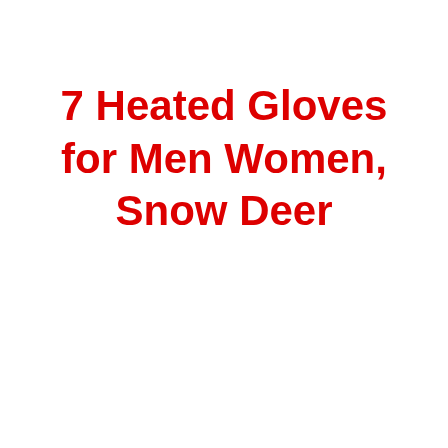7 Heated Gloves for Men Women, Snow Deer